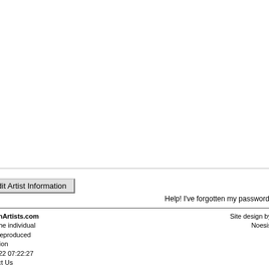Hamidrasha...
People who chose wor...
Elma...
Egon...
Anne...
Lorn...
Sonj...
Find other:
Wor...
Wor...
Wor...
Password: [input] Edit Artist Information
Help! I've forgotten my password!
Feedback and Information: Email: info@southafricanartists.com or call us toll-free in the USA, Canada and UK! | ©2001-2022 SouthAfricanArtists.com Images are copyright of the individual artists and may not be reproduced without permission Page updated: 08/21/2022 07:22:27 Site Map | Contact Us | Site design by Noesis